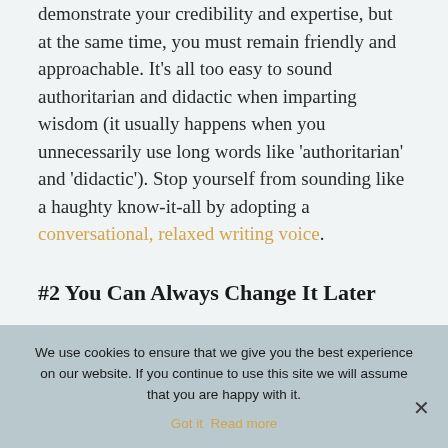demonstrate your credibility and expertise, but at the same time, you must remain friendly and approachable. It's all too easy to sound authoritarian and didactic when imparting wisdom (it usually happens when you unnecessarily use long words like 'authoritarian' and 'didactic'). Stop yourself from sounding like a haughty know-it-all by adopting a conversational, relaxed writing voice.
#2 You Can Always Change It Later
We use cookies to ensure that we give you the best experience on our website. If you continue to use this site we will assume that you are happy with it.
Got it  Read more